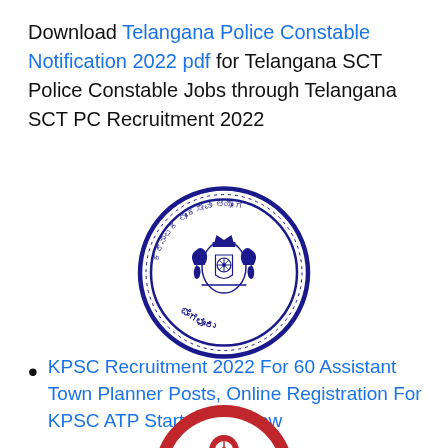Download Telangana Police Constable Notification 2022 pdf for Telangana SCT Police Constable Jobs through Telangana SCT PC Recruitment 2022
[Figure (logo): Karnataka Lok Seva Ayoga (KPSC) circular seal/logo in dark blue ink showing Kannada text and a crest emblem, with text 'ಬೆಂಗಳೂರು' at bottom]
KPSC Recruitment 2022 For 60 Assistant Town Planner Posts, Online Registration For KPSC ATP Starts Tomorrow
[Figure (logo): Indian Railways circular logo in red and white, partially visible at bottom of page]